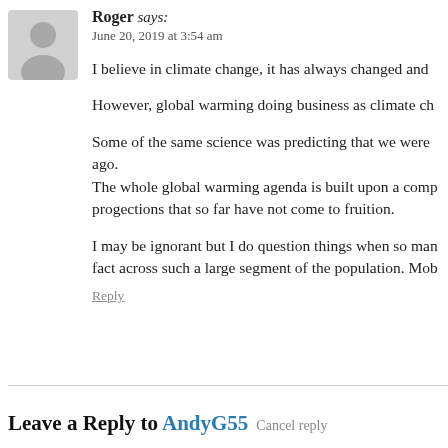[Figure (illustration): Generic grey user avatar silhouette icon]
Roger says: June 20, 2019 at 3:54 am
I believe in climate change, it has always changed and
However, global warming doing business as climate ch
Some of the same science was predicting that we were ago.
The whole global warming agenda is built upon a comp progections that so far have not come to fruition.
I may be ignorant but I do question things when so man fact across such a large segment of the population. Mob
Reply
Leave a Reply to AndyG55 Cancel reply